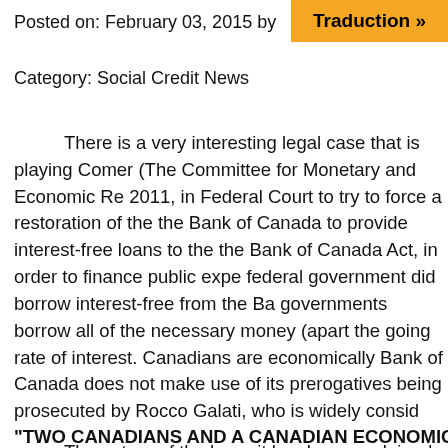Posted on: February 03, 2015 by
Traduction »
Category: Social Credit News
There is a very interesting legal case that is playing... Comer (The Committee for Monetary and Economic Re... 2011, in Federal Court to try to force a restoration of the... the Bank of Canada to provide interest-free loans to the... the Bank of Canada Act, in order to finance public expe... federal government did borrow interest-free from the Ba... governments borrow all of the necessary money (apart... the going rate of interest. Canadians are economically... Bank of Canada does not make use of its prerogatives... being prosecuted by Rocco Galati, who is widely consid...
The nature of the lawsuit has been explained on ww...
"TWO CANADIANS AND A CANADIAN ECONOMIC TH...